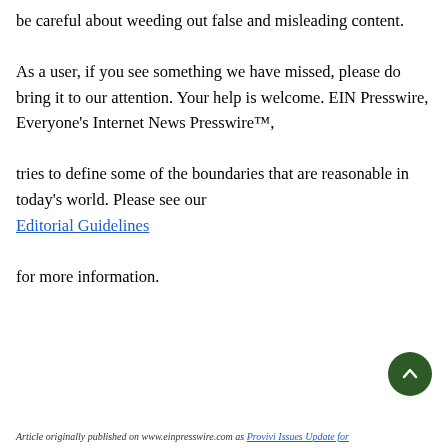be careful about weeding out false and misleading content. As a user, if you see something we have missed, please do bring it to our attention. Your help is welcome. EIN Presswire, Everyone's Internet News Presswire™, tries to define some of the boundaries that are reasonable in today's world. Please see our Editorial Guidelines for more information.
Article originally published on www.einpresswire.com as Provivi Issues Update for